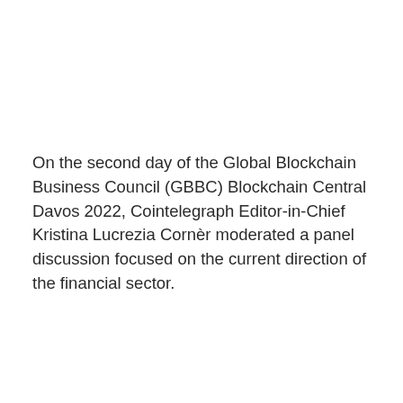On the second day of the Global Blockchain Business Council (GBBC) Blockchain Central Davos 2022, Cointelegraph Editor-in-Chief Kristina Lucrezia Cornèr moderated a panel discussion focused on the current direction of the financial sector.